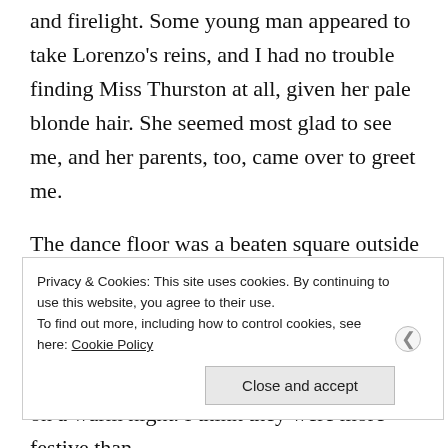and firelight. Some young man appeared to take Lorenzo's reins, and I had no trouble finding Miss Thurston at all, given her pale blonde hair. She seemed most glad to see me, and her parents, too, came over to greet me.
The dance floor was a beaten square outside a great, trim barn, not the kind of barn that seems about to peacefully crumble but the sort that speaks of industry, and energy. The lights and the bon-fire were almost too much on a warm night. I think they were more festive than
Privacy & Cookies: This site uses cookies. By continuing to use this website, you agree to their use.
To find out more, including how to control cookies, see here: Cookie Policy
Close and accept